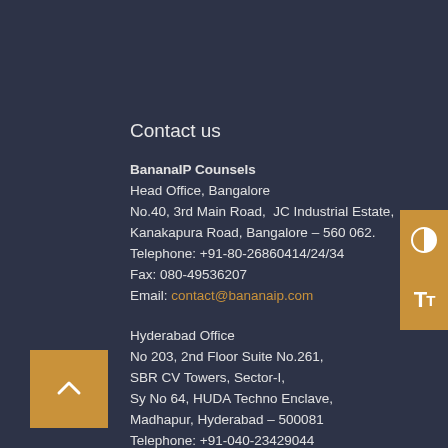Contact us
BananaIP Counsels
Head Office, Bangalore
No.40, 3rd Main Road,  JC Industrial Estate,
Kanakapura Road, Bangalore – 560 062.
Telephone: +91-80-26860414/24/34
Fax: 080-49536207
Email: contact@bananaip.com
Hyderabad Office
No 203, 2nd Floor Suite No.261,
SBR CV Towers, Sector-I,
Sy No 64, HUDA Techno Enclave,
Madhapur, Hyderabad – 500081
Telephone: +91-040-23429044